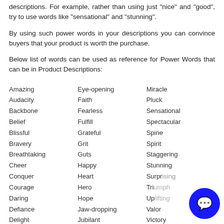descriptions. For example, rather than using just "nice" and "good", try to use words like "sensational" and "stunning".
By using such power words in your descriptions you can convince buyers that your product is worth the purchase.
Below list of words can be used as reference for Power Words that can be in Product Descriptions:
Amazing
Audacity
Backbone
Belief
Blissful
Bravery
Breathtaking
Cheer
Conquer
Courage
Daring
Defiance
Delight
Eye-opening
Faith
Fearless
Fulfill
Grateful
Grit
Guts
Happy
Heart
Hero
Hope
Jaw-dropping
Jubilant
Miracle
Pluck
Sensational
Spectacular
Spine
Spirit
Staggering
Stunning
Surprising
Triumph
Uplifting
Valor
Victory